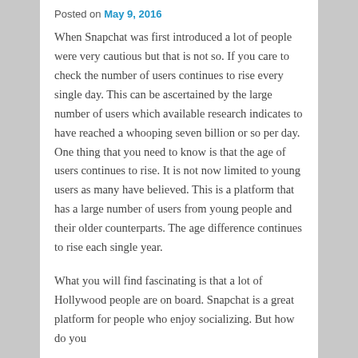Posted on May 9, 2016
When Snapchat was first introduced a lot of people were very cautious but that is not so.  If you care to check the number of users continues to rise every single day.  This can be ascertained by the large number of users which available research indicates to have reached a whooping seven billion or so per day.  One thing that you need to know is that the age of users continues to rise.  It is not now limited to young users as many have believed.  This is a platform that has a large number of users from young people and their older counterparts.  The age difference continues to rise each single year.
What you will find fascinating is that a lot of Hollywood people are on board.  Snapchat is a great platform for people who enjoy socializing.  But how do you